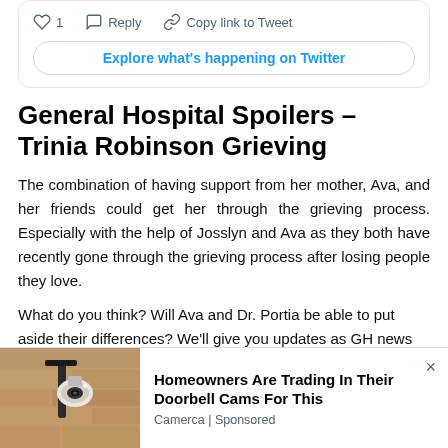[Figure (screenshot): Twitter/X tweet card showing like count of 1, Reply button, and Copy link to Tweet button, followed by an Explore what's happening on Twitter button]
General Hospital Spoilers – Trinia Robinson Grieving
The combination of having support from her mother, Ava, and her friends could get her through the grieving process. Especially with the help of Josslyn and Ava as they both have recently gone through the grieving process after losing people they love.
What do you think? Will Ava and Dr. Portia be able to put aside their differences? We'll give you updates as GH news
[Figure (screenshot): Advertisement banner: Homeowners Are Trading In Their Doorbell Cams For This – Camerca | Sponsored, with a photo of a security camera mounted on a wall]